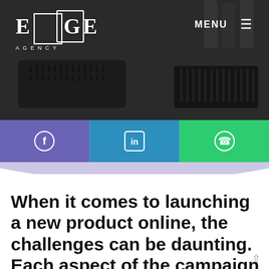[Figure (photo): Hero header image showing hair brushes, combs, and styling products on a dark background. Edge Agency logo in top left, MENU navigation in top right.]
[Figure (infographic): Social media sharing bar with three sections: Facebook (purple), LinkedIn (blue), WhatsApp (green) icons]
When it comes to launching a new product online, the challenges can be daunting. Each aspect of the campaign